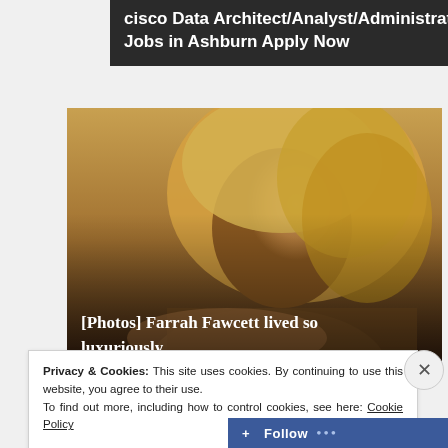[Figure (other): Advertisement banner for cisco Data Architect/Analyst/Administrator Jobs in Ashburn Apply Now on dark background]
[Figure (photo): Photo of Farrah Fawcett with blonde curly hair against warm golden background, overlay text: [Photos] Farrah Fawcett lived so luxuriously]
Privacy & Cookies: This site uses cookies. By continuing to use this website, you agree to their use.
To find out more, including how to control cookies, see here: Cookie Policy
Close and accept
Follow